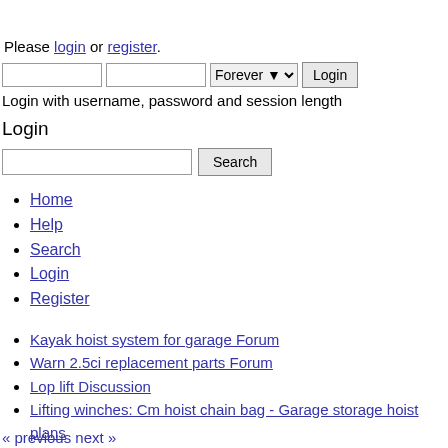Please login or register.
Login with username, password and session length
Login
Home
Help
Search
Login
Register
Kayak hoist system for garage Forum
Warn 2.5ci replacement parts Forum
Lop lift Discussion
Lifting winches: Cm hoist chain bag - Garage storage hoist plans
« previous next »